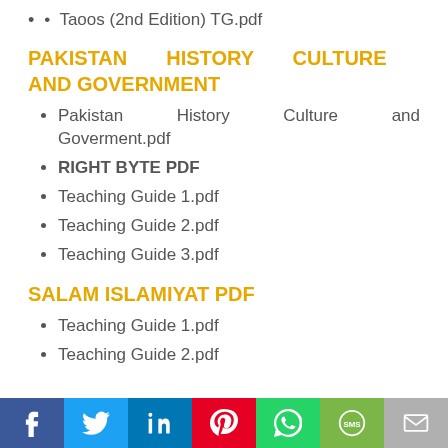Taoos (2nd Edition) TG.pdf
PAKISTAN HISTORY CULTURE AND GOVERNMENT
Pakistan History Culture and Goverment.pdf
RIGHT BYTE PDF
Teaching Guide 1.pdf
Teaching Guide 2.pdf
Teaching Guide 3.pdf
SALAM ISLAMIYAT PDF
Teaching Guide 1.pdf
Teaching Guide 2.pdf